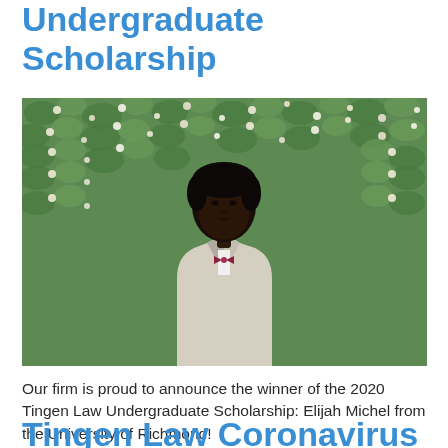Undergraduate Scholarship
[Figure (photo): Young Black man in a white patterned blazer and dark maroon bow tie, standing in front of a lush green floral hedge with small white flowers. He is looking slightly to the right with a serious expression.]
Our firm is proud to announce the winner of the 2020 Tingen Law Undergraduate Scholarship: Elijah Michel from the University of Richmond!
Tingen Law Coronavirus